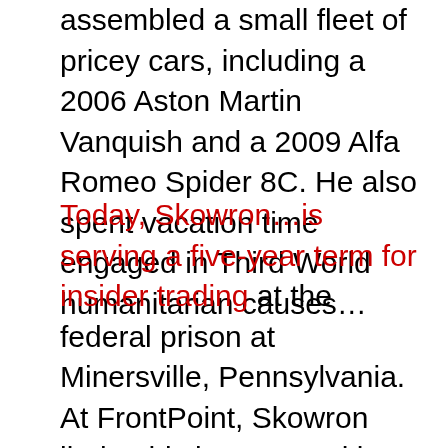assembled a small fleet of pricey cars, including a 2006 Aston Martin Vanquish and a 2009 Alfa Romeo Spider 8C. He also spent vacation time engaged in Third World humanitarian causes…
Today, Skowron…is serving a five-year term for insider trading at the federal prison at Minersville, Pennsylvania. At FrontPoint, Skowron lied to his bosses and law enforcement authorities, cost more than 35 people their jobs and stooped to slipping envelopes of cash to an accomplice. FrontPoint is gone.